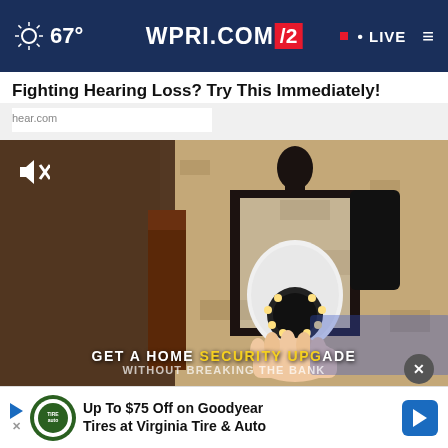67° WPRI.COM 12 • LIVE
Fighting Hearing Loss? Try This Immediately!
hear.com
[Figure (screenshot): Video advertisement showing a home security camera bulb being installed in an outdoor lantern fixture. Overlay text reads: GET A HOME SECURITY UPGRADE WITHOUT BREAKING THE BANK. A muted speaker icon is visible top-left.]
Hom  for
Up To $75 Off on Goodyear Tires at Virginia Tire & Auto